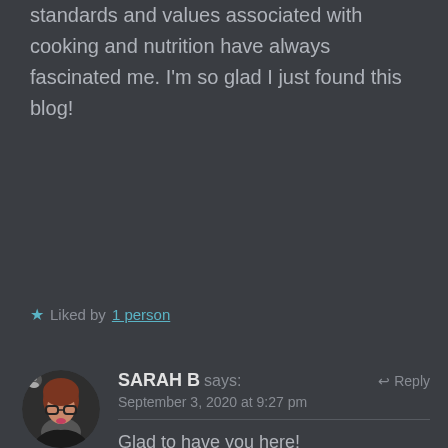standards and values associated with cooking and nutrition have always fascinated me. I'm so glad I just found this blog!
★ Liked by 1 person
SARAH B says: September 3, 2020 at 9:27 pm
Glad to have you here!
★ Liked by 1 person
VICTORIAROSE002 says: